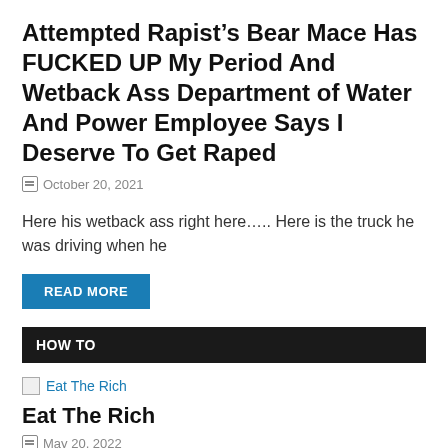Attempted Rapist’s Bear Mace Has FUCKED UP My Period And Wetback Ass Department of Water And Power Employee Says I Deserve To Get Raped
October 20, 2021
Here his wetback ass right here….. Here is the truck he was driving when he
READ MORE
HOW TO
[Figure (photo): Thumbnail image placeholder for Eat The Rich post]
Eat The Rich
May 20, 2022